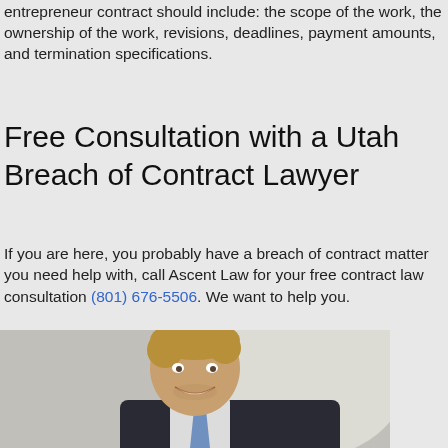entrepreneur contract should include: the scope of the work, the ownership of the work, revisions, deadlines, payment amounts, and termination specifications.
Free Consultation with a Utah Breach of Contract Lawyer
If you are here, you probably have a breach of contract matter you need help with, call Ascent Law for your free contract law consultation (801) 676-5506. We want to help you.
[Figure (photo): Professional headshot of a smiling man with blonde hair wearing a dark suit and blue tie, photographed against a light background.]